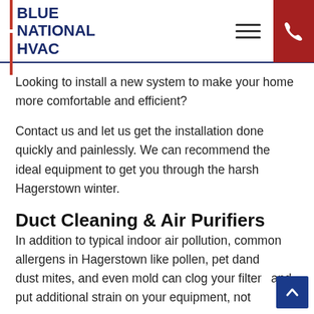[Figure (logo): Blue National HVAC logo with two red vertical bars and bold blue text]
Looking to install a new system to make your home more comfortable and efficient?
Contact us and let us get the installation done quickly and painlessly. We can recommend the ideal equipment to get you through the harsh Hagerstown winter.
Duct Cleaning & Air Purifiers
In addition to typical indoor air pollution, common allergens in Hagerstown like pollen, pet dander, dust mites, and even mold can clog your filters and put additional strain on your equipment, not